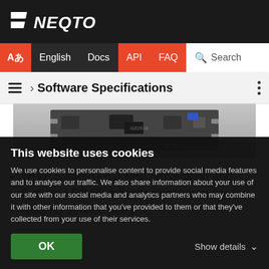NEQTO
Aあ English Docs API FAQ Search
› Software Specifications
[Figure (photo): Photo of a PCB/hardware module, partially visible at top of content area]
While System LED Red remains on and System LED Blue flashes continuously, the NEQTO service does
This website uses cookies
We use cookies to personalise content to provide social media features and to analyse our traffic. We also share information about your use of our site with our social media and analytics partners who may combine it with other information that you've provided to them or that they've collected from your use of their services.
OK
Show details